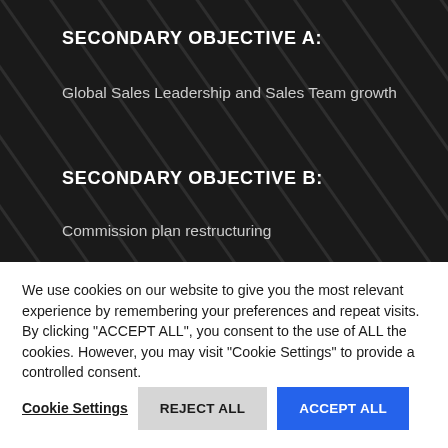SECONDARY OBJECTIVE A:
Global Sales Leadership and Sales Team growth
SECONDARY OBJECTIVE B:
Commission plan restructuring
We use cookies on our website to give you the most relevant experience by remembering your preferences and repeat visits. By clicking "ACCEPT ALL", you consent to the use of ALL the cookies. However, you may visit "Cookie Settings" to provide a controlled consent.
Cookie Settings | REJECT ALL | ACCEPT ALL